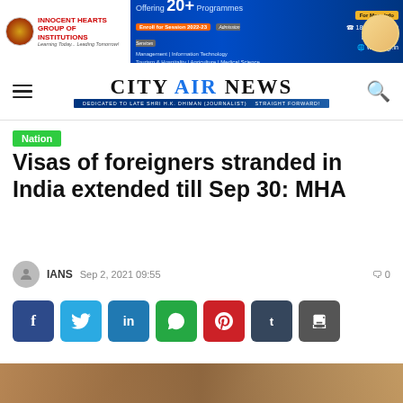[Figure (infographic): Advertisement banner for Innocent Hearts Group of Institutions showing logo, '20+ Programmes', enroll for session 2022-23, contact numbers 1800-833-4600 and 87250-33447, website www.ihgi.in]
CITY AIR NEWS
Nation
Visas of foreigners stranded in India extended till Sep 30: MHA
IANS  Sep 2, 2021 09:55
[Figure (infographic): Social sharing buttons: Facebook, Twitter, LinkedIn, WhatsApp, Pinterest, Tumblr, Print]
[Figure (photo): Partial photo at the bottom of the page]